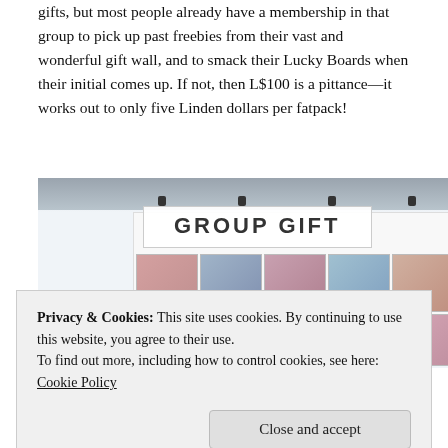gifts, but most people already have a membership in that group to pick up past freebies from their vast and wonderful gift wall, and to smack their Lucky Boards when their initial comes up. If not, then L$100 is a pittance—it works out to only five Linden dollars per fatpack!
[Figure (photo): A virtual world store display showing a large 'GROUP GIFT' sign above a wall of outfit/clothing thumbnails showing various avatar outfits in multiple rows.]
Privacy & Cookies: This site uses cookies. By continuing to use this website, you agree to their use.
To find out more, including how to control cookies, see here: Cookie Policy
discover a fatpack of a gown which I had previously